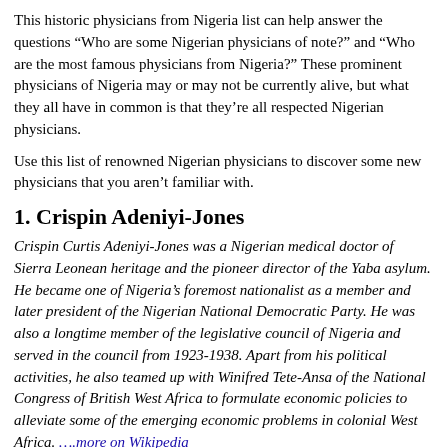This historic physicians from Nigeria list can help answer the questions “Who are some Nigerian physicians of note?” and “Who are the most famous physicians from Nigeria?” These prominent physicians of Nigeria may or may not be currently alive, but what they all have in common is that they’re all respected Nigerian physicians.
Use this list of renowned Nigerian physicians to discover some new physicians that you aren’t familiar with.
1. Crispin Adeniyi-Jones
Crispin Curtis Adeniyi-Jones was a Nigerian medical doctor of Sierra Leonean heritage and the pioneer director of the Yaba asylum. He became one of Nigeria’s foremost nationalist as a member and later president of the Nigerian National Democratic Party. He was also a longtime member of the legislative council of Nigeria and served in the council from 1923-1938. Apart from his political activities, he also teamed up with Winifred Tete-Ansa of the National Congress of British West Africa to formulate economic policies to alleviate some of the emerging economic problems in colonial West Africa. ….more on Wikipedia
Age: Dec. at 81 (1876-1957)